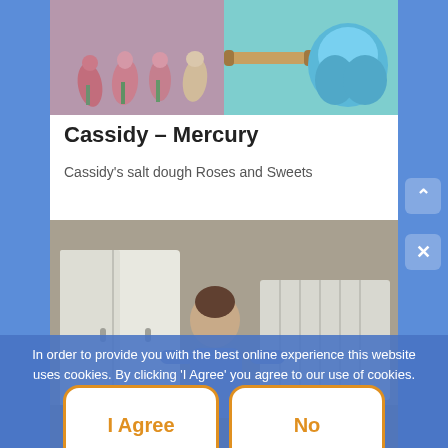[Figure (photo): Top image showing clay/salt dough items - roses and sweets on the left side, and a blue garment/item on the right side]
Cassidy – Mercury
Cassidy's salt dough Roses and Sweets
[Figure (photo): Photo of a child near a white radiator/cabinet]
In order to provide you with the best online experience this website uses cookies. By clicking 'I Agree' you agree to our use of cookies.
I Agree
No
Privacy policy
Leo Mars